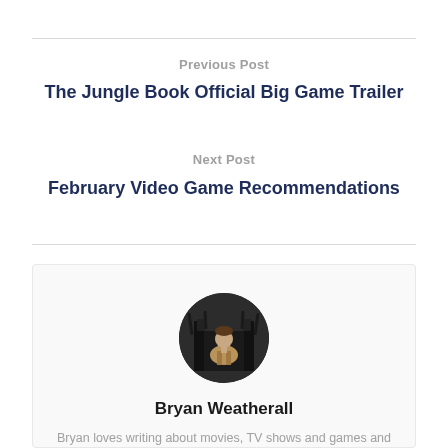Previous Post
The Jungle Book Official Big Game Trailer
Next Post
February Video Game Recommendations
[Figure (photo): Circular avatar photo of Bryan Weatherall sitting on what appears to be a throne, wearing a tan jacket]
Bryan Weatherall
Bryan loves writing about movies, TV shows and games and tries his best to give a balanced and honest view in